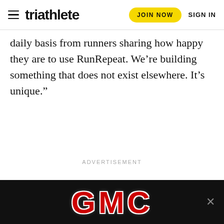triathlete | JOIN NOW | SIGN IN
daily basis from runners sharing how happy they are to use RunRepeat. We’re building something that does not exist elsewhere. It’s unique.”
ADVERTISEMENT
[Figure (logo): GMC logo in red metallic letters on black background, bottom banner advertisement]